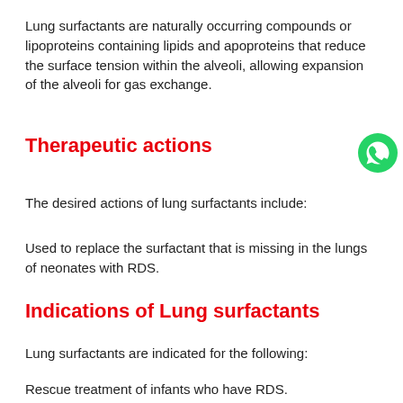Lung surfactants are naturally occurring compounds or lipoproteins containing lipids and apoproteins that reduce the surface tension within the alveoli, allowing expansion of the alveoli for gas exchange.
Therapeutic actions
The desired actions of lung surfactants include:
Used to replace the surfactant that is missing in the lungs of neonates with RDS.
Indications of Lung surfactants
Lung surfactants are indicated for the following:
Rescue treatment of infants who have RDS.